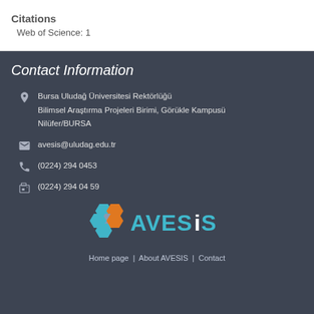Citations
Web of Science: 1
Contact Information
Bursa Uludağ Üniversitesi Rektörlüğü
Bilimsel Araştırma Projeleri Birimi, Görükle Kampusü
Nilüfer/BURSA
avesis@uludag.edu.tr
(0224) 294 0453
(0224) 294 04 59
[Figure (logo): AVESIS logo with hexagonal icons in teal and orange]
Home page | About AVESIS | Contact